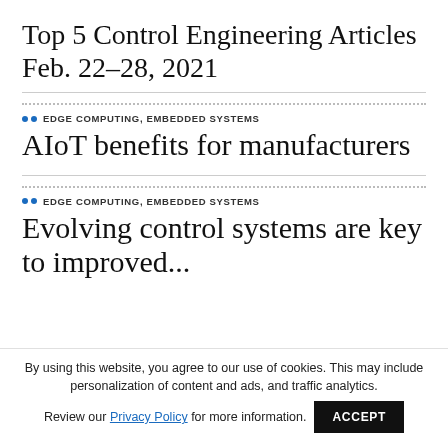Top 5 Control Engineering Articles Feb. 22–28, 2021
EDGE COMPUTING, EMBEDDED SYSTEMS
AIoT benefits for manufacturers
EDGE COMPUTING, EMBEDDED SYSTEMS
Evolving control systems are key to improved...
By using this website, you agree to our use of cookies. This may include personalization of content and ads, and traffic analytics. Review our Privacy Policy for more information.